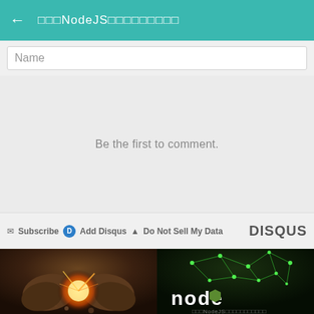← □□□NodeJS□□□□□□□□□
Name
Be the first to comment.
✉ Subscribe  Add Disqus  ▲ Do Not Sell My Data    DISQUS
[Figure (photo): Two fists bumping together with a fiery explosion at the point of contact, dramatic lighting]
[Figure (logo): Node.js logo with green glowing network graph and white 'node' text on dark background, with Japanese text below]